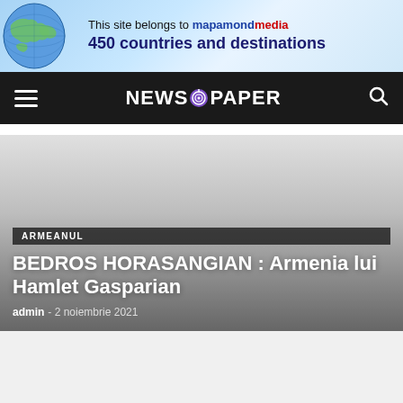[Figure (infographic): Banner advertisement: world map graphic on left with text 'This site belongs to mapamondmedia 450 countries and destinations']
NEWS 9 PAPER
[Figure (photo): Hero image area with gradient background (light gray to dark gray)]
ARMEANUL
BEDROS HORASANGIAN : Armenia lui Hamlet Gasparian
admin - 2 noiembrie 2021